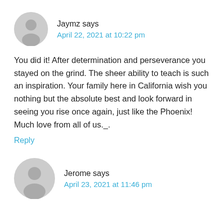[Figure (illustration): Gray circular avatar placeholder icon with a person silhouette for user Jaymz]
Jaymz says
April 22, 2021 at 10:22 pm
You did it! After determination and perseverance you stayed on the grind. The sheer ability to teach is such an inspiration. Your family here in California wish you nothing but the absolute best and look forward in seeing you rise once again, just like the Phoenix! Much love from all of us._
Reply
[Figure (illustration): Gray circular avatar placeholder icon with a person silhouette for user Jerome]
Jerome says
April 23, 2021 at 11:46 pm